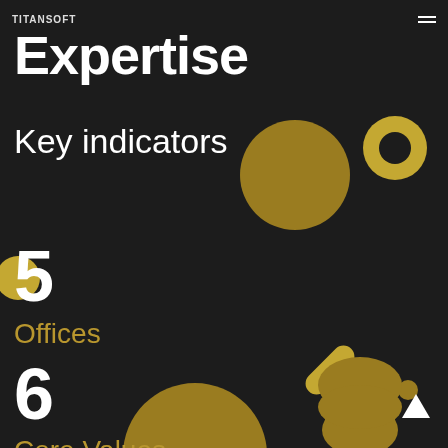TITANSOFT
Expertise
Key indicators
[Figure (infographic): Decorative gold 3D spheres, capsules, and donut shapes scattered across a dark background]
5
Offices
6
Core Values
300